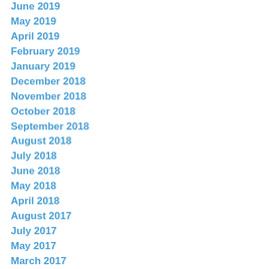June 2019
May 2019
April 2019
February 2019
January 2019
December 2018
November 2018
October 2018
September 2018
August 2018
July 2018
June 2018
May 2018
April 2018
August 2017
July 2017
May 2017
March 2017
February 2017
January 2017